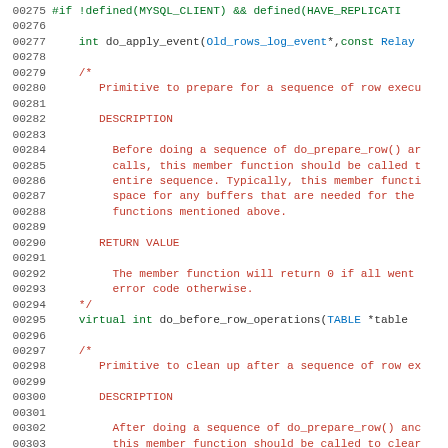Source code listing lines 00275-00304 showing C++ code with comments for Old_rows_log_event class methods including do_apply_event, do_before_row_operations documentation